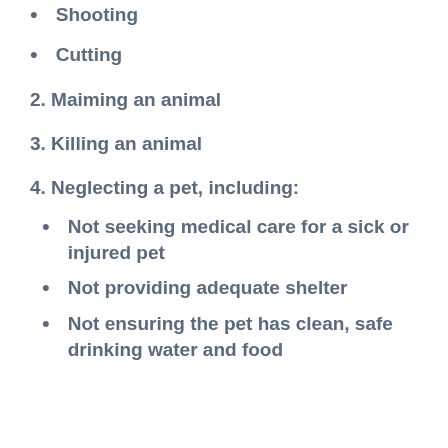Shooting
Cutting
2. Maiming an animal
3. Killing an animal
4. Neglecting a pet, including:
Not seeking medical care for a sick or injured pet
Not providing adequate shelter
Not ensuring the pet has clean, safe drinking water and food